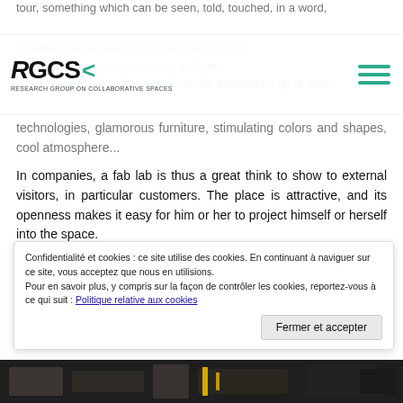tour, something which can be seen, told, touched, in a word, borative spaces are iconic spaces expected e best of a company or society at large: collaboration and collaborative values, innovation, up to date technologies, glamorous furniture, stimulating colors and shapes, cool atmosphere...
RGCS Research Group on Collaborative Spaces
In companies, a fab lab is thus a great think to show to external visitors, in particular customers. The place is attractive, and its openness makes it easy for him or her to project himself or herself into the space.
Beyond that, a fab lab (and collaborative spaces at large) are great opportunities for communication and demonstration in the... powerful external visitors are economic and social potential of a territory. What a great experience! During her visit of Berlin Radia of Jordan was thus invited to visit Fab lab Berlin.
Confidentialité et cookies : ce site utilise des cookies. En continuant à naviguer sur ce site, vous acceptez que nous en utilisions.
Pour en savoir plus, y compris sur la façon de contrôler les cookies, reportez-vous à ce qui suit : Politique relative aux cookies
Fermer et accepter
[Figure (photo): Dark bottom image strip showing what appears to be a workshop or fab lab interior]